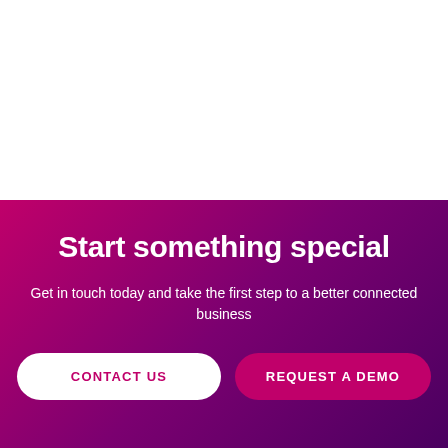Start something special
Get in touch today and take the first step to a better connected business
CONTACT US
REQUEST A DEMO